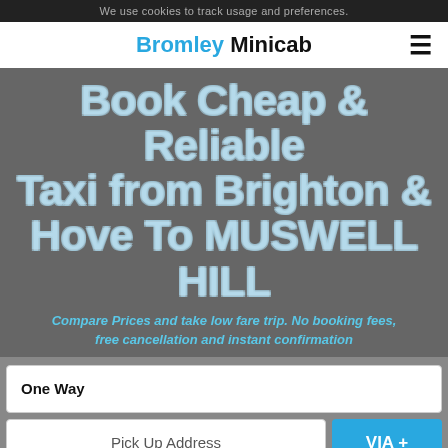We use cookies to track usage and preferences.
Bromley Minicab
Book Cheap & Reliable Taxi from Brighton & Hove To MUSWELL HILL
Compare Prices and take low fare trip. No booking fees, free cancellation and instant confirmation
One Way
Pick Up Address
VIA +